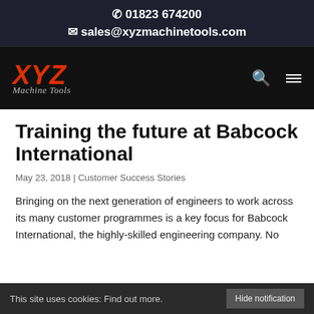✆ 01823 674200
✉ sales@xyzmachinetools.com
[Figure (logo): XYZ Machine Tools logo — red bold italic XYZ with 'Machine Tools' in italic below, on black navigation bar with search and menu icons]
Training the future at Babcock International
May 23, 2018 | Customer Success Stories
Bringing on the next generation of engineers to work across its many customer programmes is a key focus for Babcock International, the highly-skilled engineering company. No
This site uses cookies: Find out more.